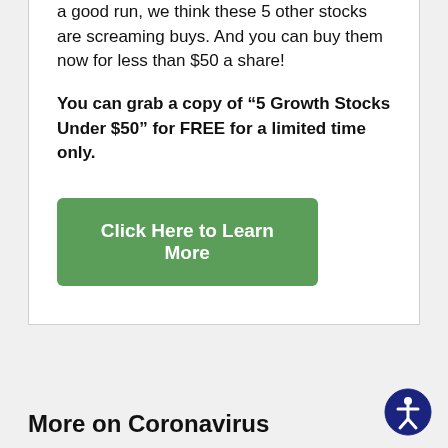a good run, we think these 5 other stocks are screaming buys. And you can buy them now for less than $50 a share!
You can grab a copy of “5 Growth Stocks Under $50” for FREE for a limited time only.
Click Here to Learn More
More on Coronavirus